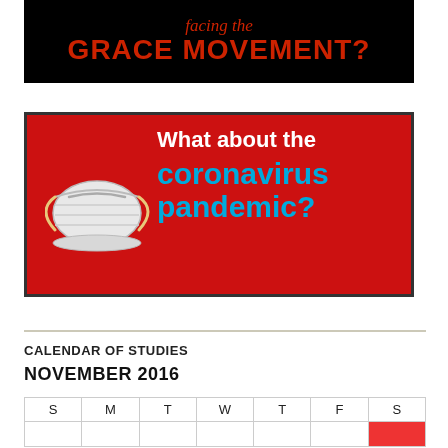[Figure (illustration): Black banner with red italic text 'facing the' and large bold red text 'GRACE MOVEMENT?']
[Figure (illustration): Red banner with white text 'What about the', a surgical mask illustration on the left, and cyan/blue bold text 'coronavirus pandemic?']
CALENDAR OF STUDIES
NOVEMBER 2016
| S | M | T | W | T | F | S |
| --- | --- | --- | --- | --- | --- | --- |
|  |